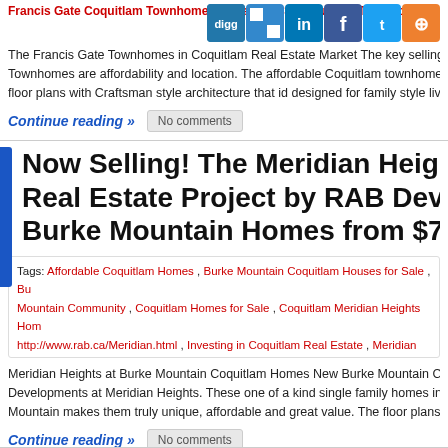Francis Gate Coquitlam Townhomes , Preston Coquitlam Townhomes , Foothills
[Figure (screenshot): Social share icons: digg, delicious, LinkedIn, Facebook, Twitter, RSS]
The Francis Gate Townhomes in Coquitlam Real Estate Market The key selling points of these Townhomes are affordability and location. The affordable Coquitlam townhomes feature spacious floor plans with Craftsman style architecture that id designed for family style livi
Continue reading »   No comments
Now Selling! The Meridian Heights at B Real Estate Project by RAB Developme Burke Mountain Homes from $700's and
Tags: Affordable Coquitlam Homes , Burke Mountain Coquitlam Houses for Sale , Burke Mountain Community , Coquitlam Homes for Sale , Coquitlam Meridian Heights Homes, http://www.rab.ca/Meridian.html , Investing in Coquitlam Real Estate , Meridian Heights by RAB Developments , Meridian Heights Coquitlam Homes , New Coquitlam RAB Developments
Meridian Heights at Burke Mountain Coquitlam Homes New Burke Mountain Co Developments at Meridian Heights. These one of a kind single family homes in Mountain makes them truly unique, affordable and great value. The floor plans
Continue reading »   No comments